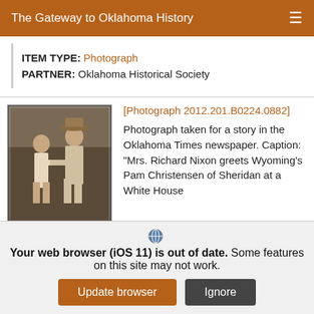The Gateway to Oklahoma History
ITEM TYPE: Photograph
PARTNER: Oklahoma Historical Society
[Photograph 2012.201.B0224.0882]
[Figure (photo): Old photograph showing two people, a woman in a short dress and a man in a cowboy hat, appearing to greet each other]
Photograph taken for a story in the Oklahoma Times newspaper. Caption: "Mrs. Richard Nixon greets Wyoming's Pam Christensen of Sheridan at a White House
Your web browser (iOS 11) is out of date. Some features on this site may not work.
Update browser
Ignore